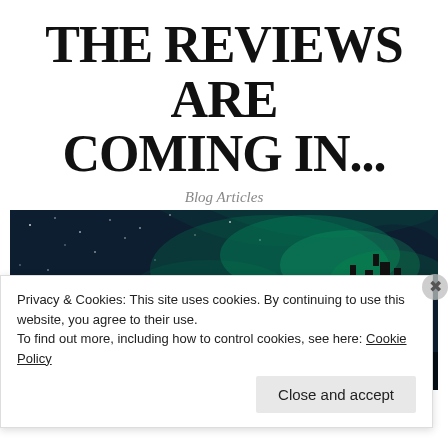THE REVIEWS ARE COMING IN...
Blog Articles
[Figure (photo): Dark fantasy/sci-fi scene with aurora borealis sky and castle silhouette on a hill, with text overlay starting: “What an unexpected gem of a]
“What an unexpected gem of a
Privacy & Cookies: This site uses cookies. By continuing to use this website, you agree to their use.
To find out more, including how to control cookies, see here: Cookie Policy
Close and accept